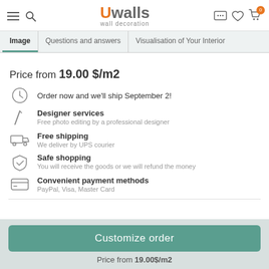Uwalls wall decoration
Image | Questions and answers | Visualisation of Your Interior
Price from 19.00 $/m2
Order now and we'll ship September 2!
Designer services
Free photo editing by a professional designer
Free shipping
We deliver by UPS courier
Safe shopping
You will receive the goods or we will refund the money
Convenient payment methods
PayPal, Visa, Master Card
Customize order
Price from 19.00$/m2